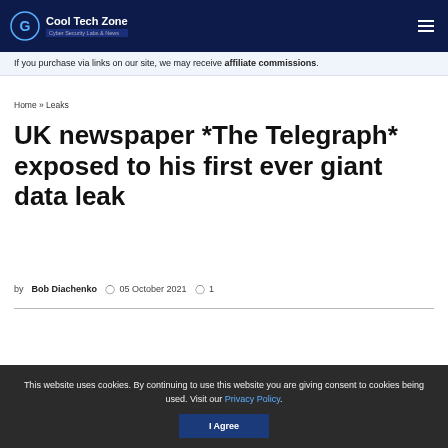Cool Tech Zone — Cyber Security Labs & News
If you purchase via links on our site, we may receive affiliate commissions.
Home » Leaks
UK newspaper *The Telegraph* exposed to his first ever giant data leak
by Bob Diachenko   05 October 2021   1
This website uses cookies. By continuing to use this website you are giving consent to cookies being used. Visit our Privacy Policy. I Agree